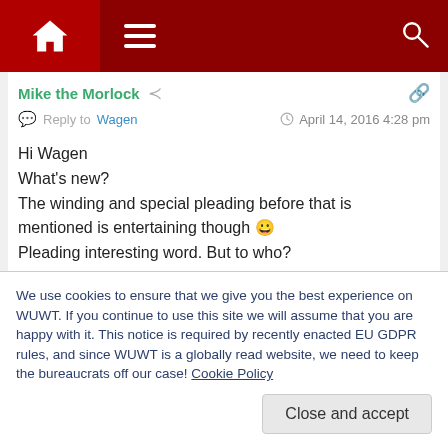Navigation bar with home, menu, and search icons
Mike the Morlock
Reply to Wagen  April 14, 2016 4:28 pm
Hi Wagen
What's new?
The winding and special pleading before that is mentioned is entertaining though 😀
Pleading interesting word. But to who?
michael
+ 0 —
We use cookies to ensure that we give you the best experience on WUWT. If you continue to use this site we will assume that you are happy with it. This notice is required by recently enacted EU GDPR rules, and since WUWT is a globally read website, we need to keep the bureaucrats off our case! Cookie Policy
Close and accept